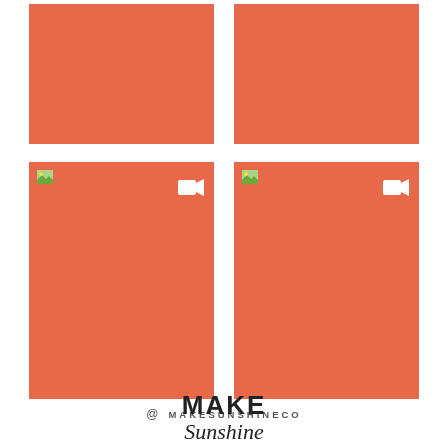[Figure (infographic): Four orange-salmon colored rectangular blocks arranged in a 2x2 grid. The two bottom blocks each have a small image icon in the top-left corner and a white video camera icon in the upper-right area.]
@ MAKESUNSHINECO
MAKE Sunshine